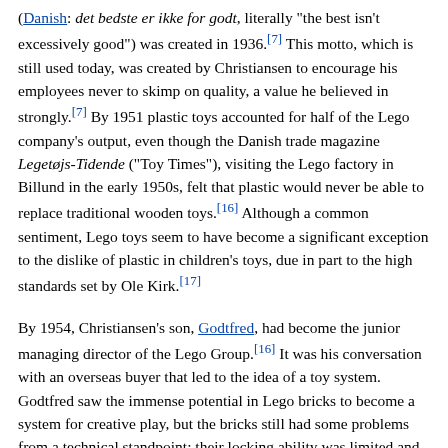(Danish: det bedste er ikke for godt, literally "the best isn't excessively good") was created in 1936.[7] This motto, which is still used today, was created by Christiansen to encourage his employees never to skimp on quality, a value he believed in strongly.[7] By 1951 plastic toys accounted for half of the Lego company's output, even though the Danish trade magazine Legetøjs-Tidende ("Toy Times"), visiting the Lego factory in Billund in the early 1950s, felt that plastic would never be able to replace traditional wooden toys.[16] Although a common sentiment, Lego toys seem to have become a significant exception to the dislike of plastic in children's toys, due in part to the high standards set by Ole Kirk.[17]
By 1954, Christiansen's son, Godtfred, had become the junior managing director of the Lego Group.[16] It was his conversation with an overseas buyer that led to the idea of a toy system. Godtfred saw the immense potential in Lego bricks to become a system for creative play, but the bricks still had some problems from a technical standpoint: their locking ability was limited and they were not versatile.[3] In 1958, the modern brick design was developed; it took five years to find the right material for it, ABS (acrylonitrile butadiene styrene) polymer.[13][14] A patent application for the modern Lego brick design was filed in Denmark